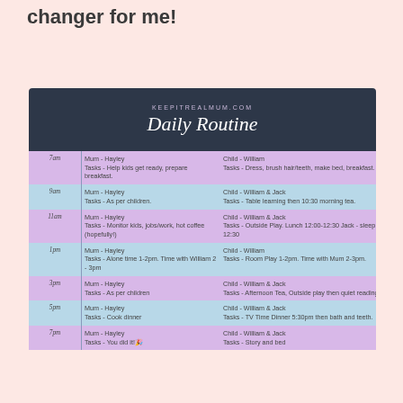changer for me!
[Figure (infographic): Daily Routine schedule card from keepitrealmum.com with dark header and alternating purple/blue rows showing times from 7am to 7pm with Mum and Child tasks]
| Time | Mum | Child |
| --- | --- | --- |
| 7am | Mum - Hayley
Tasks - Help kids get ready, prepare breakfast. | Child - William
Tasks - Dress, brush hair/teeth, make bed, breakfast. |
| 9am | Mum - Hayley
Tasks - As per children. | Child - William & Jack
Tasks - Table learning then 10:30 morning tea. |
| 11am | Mum - Hayley
Tasks - Monitor kids, jobs/work, hot coffee (hopefully!) | Child - William & Jack
Tasks - Outside Play. Lunch 12:00-12:30 Jack - sleep at 12:30 |
| 1pm | Mum - Hayley
Tasks - Alone time 1-2pm. Time with William 2 - 3pm | Child - William
Tasks - Room Play 1-2pm. Time with Mum 2-3pm. |
| 3pm | Mum - Hayley
Tasks - As per children | Child - William & Jack
Tasks - Afternoon Tea, Outside play then quiet reading. |
| 5pm | Mum - Hayley
Tasks - Cook dinner | Child - William & Jack
Tasks - TV Time Dinner 5:30pm then bath and teeth. |
| 7pm | Mum - Hayley
Tasks - You did it!🎉 | Child - William & Jack
Tasks - Story and bed |